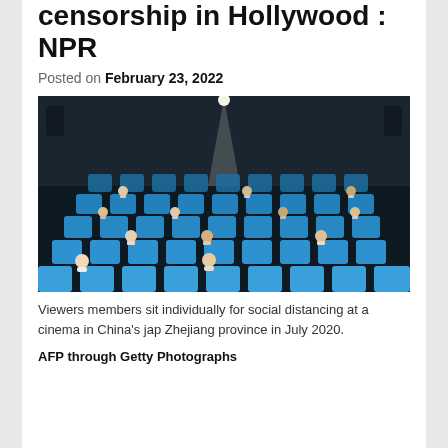censorship in Hollywood : NPR
Posted on February 23, 2022
[Figure (photo): People wearing masks sit individually spaced in blue cinema seats for social distancing in a darkened movie theater in China, with a projector beam visible overhead.]
Viewers members sit individually for social distancing at a cinema in China's jap Zhejiang province in July 2020.
AFP through Getty Photographs